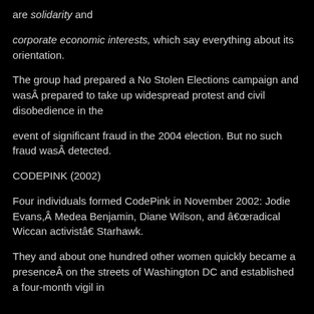are solidarity and
corporate economic interests, which say everything about its orientation.
The group had prepared a No Stolen Elections campaign and wasÂ prepared to take up widespread protest and civil disobedience in the
event of significant fraud in the 2004 election. But no such fraud wasÂ detected.
CODEPINK (2002)
Four individuals formed CodePink in November 2002: Jodie Evans,Â Medea Benjamin, Diane Wilson, and âradical Wiccan activistâ Starhawk.
They and about one hundred other women quickly became a presenceÂ on the streets of Washington DC and established a four-month vigil in